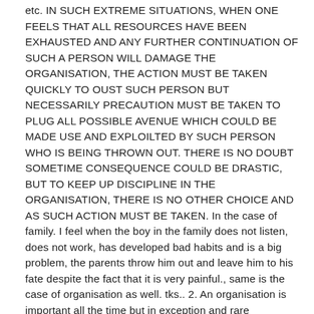etc. IN SUCH EXTREME SITUATIONS, WHEN ONE FEELS THAT ALL RESOURCES HAVE BEEN EXHAUSTED AND ANY FURTHER CONTINUATION OF SUCH A PERSON WILL DAMAGE THE ORGANISATION, THE ACTION MUST BE TAKEN QUICKLY TO OUST SUCH PERSON BUT NECESSARILY PRECAUTION MUST BE TAKEN TO PLUG ALL POSSIBLE AVENUE WHICH COULD BE MADE USE AND EXPLOILTED BY SUCH PERSON WHO IS BEING THROWN OUT. THERE IS NO DOUBT SOMETIME CONSEQUENCE COULD BE DRASTIC, BUT TO KEEP UP DISCIPLINE IN THE ORGANISATION, THERE IS NO OTHER CHOICE AND AS SUCH ACTION MUST BE TAKEN. In the case of family. I feel when the boy in the family does not listen, does not work, has developed bad habits and is a big problem, the parents throw him out and leave him to his fate despite the fact that it is very painful., same is the case of organisation as well. tks.. 2. An organisation is important all the time but in exception and rare circumstances becomes more important when it is feared that exit of the individual concerned, will cause an enormous exodus and result in unbearable damage to the organisation.